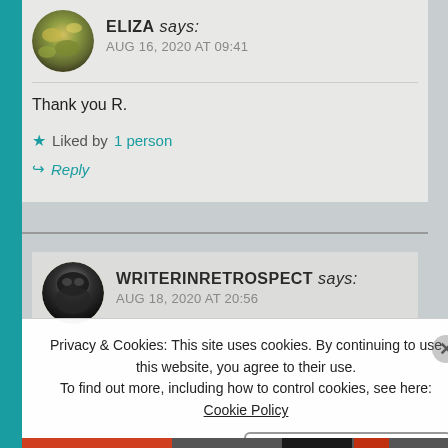[Figure (photo): Circular avatar photo of Eliza, showing a nature/plant scene with yellow and green tones]
ELIZA says:
AUG 16, 2020 AT 09:41
Thank you R.
★ Liked by 1 person
↪ Reply
[Figure (photo): Circular avatar photo of writerinretrospect, showing a dark bird (crow/raven) against a grey background]
WRITERINRETROSPECT says:
AUG 18, 2020 AT 20:56
Privacy & Cookies: This site uses cookies. By continuing to use this website, you agree to their use.
To find out more, including how to control cookies, see here: Cookie Policy
Close and accept